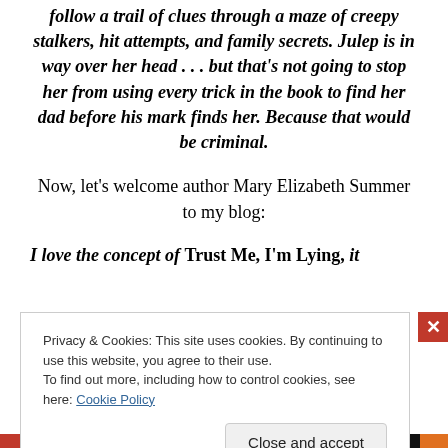follow a trail of clues through a maze of creepy stalkers, hit attempts, and family secrets. Julep is in way over her head . . . but that's not going to stop her from using every trick in the book to find her dad before his mark finds her. Because that would be criminal.
Now, let's welcome author Mary Elizabeth Summer to my blog:
I love the concept of Trust Me, I'm Lying, it
Privacy & Cookies: This site uses cookies. By continuing to use this website, you agree to their use.
To find out more, including how to control cookies, see here: Cookie Policy